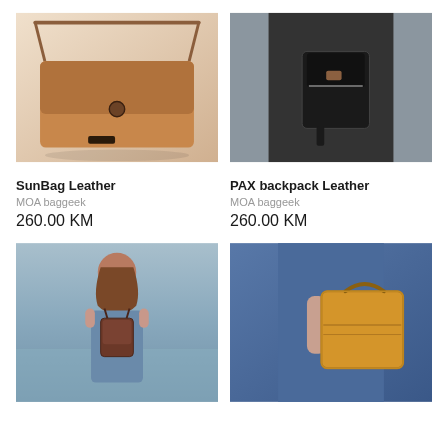[Figure (photo): SunBag Leather - tan/brown leather crossbody messenger bag with twist lock clasp]
[Figure (photo): PAX backpack Leather - black leather backpack worn by woman in black coat]
SunBag Leather
MOA baggeek
260.00 KM
PAX backpack Leather
MOA baggeek
260.00 KM
[Figure (photo): Brown leather backpack worn by woman with curly hair standing near water]
[Figure (photo): Yellow/mustard leather bag held by person wearing blue dress]